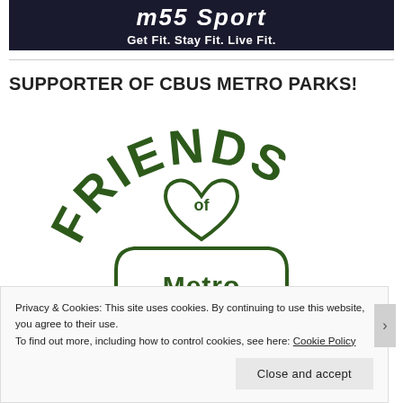[Figure (logo): m55 Sport banner with tagline 'Get Fit. Stay Fit. Live Fit.' on dark background]
SUPPORTER OF CBUS METRO PARKS!
[Figure (logo): Friends of Metro Parks logo - green arched text 'FRIENDS' at top, heart shape with 'of' inside, shield/arch shape below with text 'Metro']
Privacy & Cookies: This site uses cookies. By continuing to use this website, you agree to their use.
To find out more, including how to control cookies, see here: Cookie Policy
Close and accept